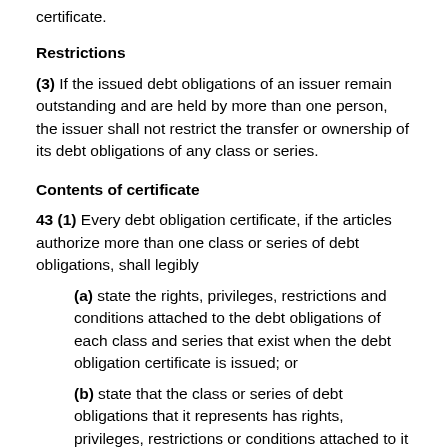certificate.
Restrictions
(3) If the issued debt obligations of an issuer remain outstanding and are held by more than one person, the issuer shall not restrict the transfer or ownership of its debt obligations of any class or series.
Contents of certificate
43 (1) Every debt obligation certificate, if the articles authorize more than one class or series of debt obligations, shall legibly
(a) state the rights, privileges, restrictions and conditions attached to the debt obligations of each class and series that exist when the debt obligation certificate is issued; or
(b) state that the class or series of debt obligations that it represents has rights, privileges, restrictions or conditions attached to it